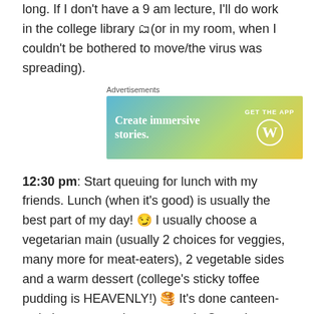long. If I don't have a 9 am lecture, I'll do work in the college library 📚 (or in my room, when I couldn't be bothered to move/the virus was spreading).
[Figure (other): WordPress advertisement banner: 'Create immersive stories. GET THE APP' with WordPress logo on gradient blue-green-yellow background]
12:30 pm: Start queuing for lunch with my friends. Lunch (when it's good) is usually the best part of my day! 😏 I usually choose a vegetarian main (usually 2 choices for veggies, many more for meat-eaters), 2 vegetable sides and a warm dessert (college's sticky toffee pudding is HEAVENLY!) 🥞 It's done canteen-style in a pay-per-item system in Queen's – comes up to an average of about £3.20, which is definitely cheap in comparison!
Afternoon: In 2nd year, I might have labs (Monday to